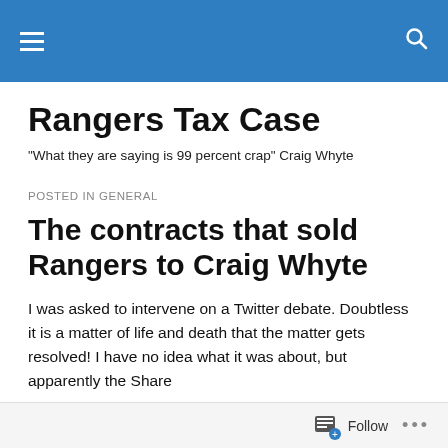Rangers Tax Case — navigation bar
Rangers Tax Case
"What they are saying is 99 percent crap" Craig Whyte
POSTED IN GENERAL
The contracts that sold Rangers to Craig Whyte
I was asked to intervene on a Twitter debate. Doubtless it is a matter of life and death that the matter gets resolved! I have no idea what it was about, but apparently the Share
Follow ...